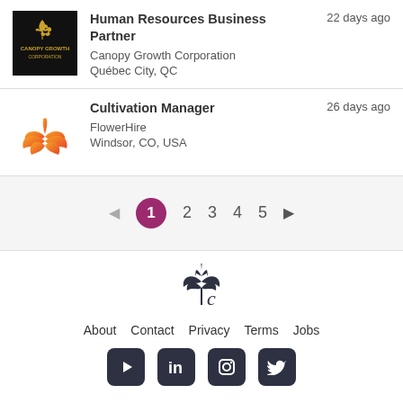[Figure (logo): Canopy Growth Corporation black square logo with gold cannabis leaf plant icon and company name]
Human Resources Business Partner
Canopy Growth Corporation
Québec City, QC
22 days ago
[Figure (logo): FlowerHire orange/red cannabis leaf logo]
Cultivation Manager
FlowerHire
Windsor, CO, USA
26 days ago
◄ 1 2 3 4 5 ►
[Figure (logo): Cannabis job board site logo - dark cannabis leaf with stylized C]
About
Contact
Privacy
Terms
Jobs
[Figure (logo): YouTube, LinkedIn, Instagram, Twitter social media icons in dark rounded squares]